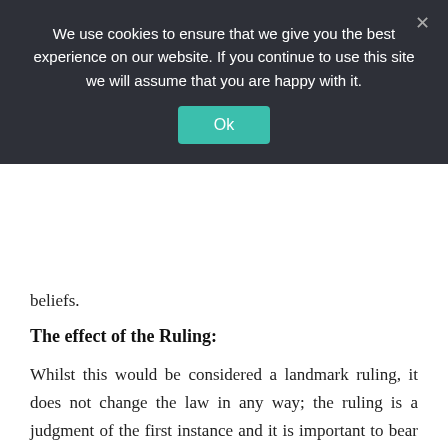We use cookies to ensure that we give you the best experience on our website. If you continue to use this site we will assume that you are happy with it.
Ok
beliefs.
The effect of the Ruling:
Whilst this would be considered a landmark ruling, it does not change the law in any way; the ruling is a judgment of the first instance and it is important to bear in mind that this does not need to be followed. Where the ruling has made an impact however, is the fact that businesses should now consider how best to accommodate ethical veganism.
First and foremost, business owners should create a culture of understanding and respect in the